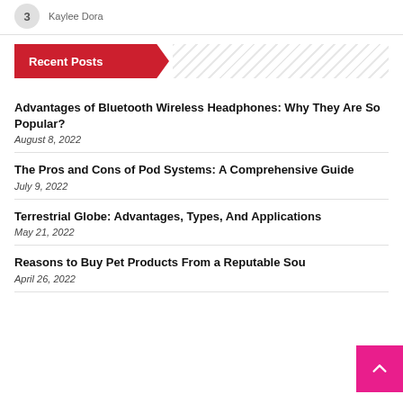Kaylee Dora
Recent Posts
Advantages of Bluetooth Wireless Headphones: Why They Are So Popular?
August 8, 2022
The Pros and Cons of Pod Systems: A Comprehensive Guide
July 9, 2022
Terrestrial Globe: Advantages, Types, And Applications
May 21, 2022
Reasons to Buy Pet Products From a Reputable Sou…
April 26, 2022